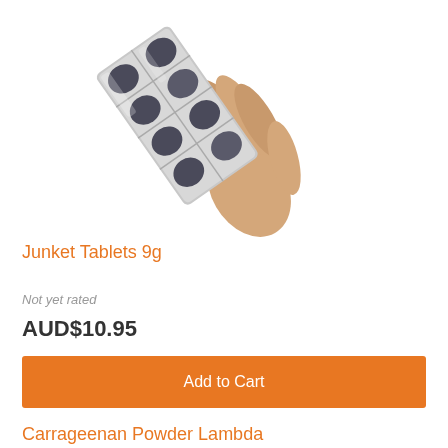[Figure (photo): A hand holding a silver blister pack of round dark tablets (Junket Tablets 9g), tilted diagonally against a white background.]
Junket Tablets 9g
Not yet rated
AUD$10.95
Add to Cart
Carrageenan Powder Lambda